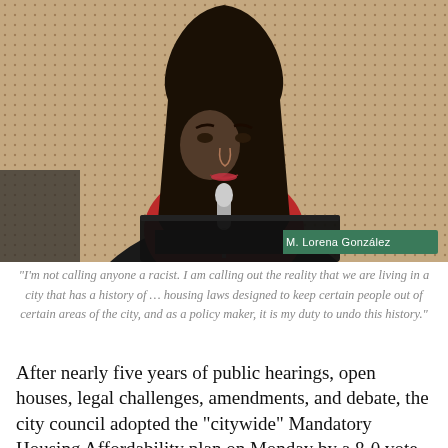[Figure (photo): Woman with long dark hair speaking at a council meeting in front of a microphone, with a dotted acoustic wall panel behind her. A nameplate reading 'M. Lorena González' is visible at the bottom right of the image.]
“I’m not calling anyone a racist. I am calling out the reality that we are living in a city that has a history of …  housing laws designed to keep certain people out of certain areas of the city, and as a policy maker, it is my duty to undo this history.”
After nearly five years of public hearings, open houses, legal challenges, amendments, and debate, the city council adopted the “citywide” Mandatory Housing Affordability plan on Monday by a 8-0 vote,